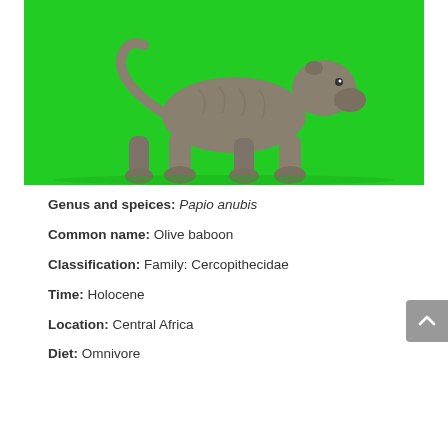[Figure (photo): A gray plastic or toy figurine of a baboon (or bear-like animal) walking on all fours, photographed against a bright green background.]
Genus and speices: Papio anubis
Common name: Olive baboon
Classification: Family: Cercopithecidae
Time: Holocene
Location: Central Africa
Diet: Omnivore